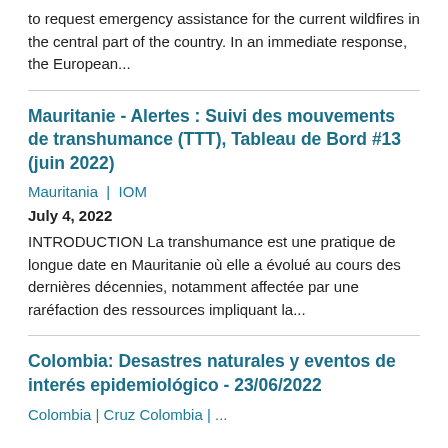to request emergency assistance for the current wildfires in the central part of the country. In an immediate response, the European...
Mauritanie - Alertes : Suivi des mouvements de transhumance (TTT), Tableau de Bord #13 (juin 2022)
Mauritania  |  IOM
July 4, 2022
INTRODUCTION La transhumance est une pratique de longue date en Mauritanie où elle a évolué au cours des dernières décennies, notamment affectée par une raréfaction des ressources impliquant la...
Colombia: Desastres naturales y eventos de interés epidemiológico - 23/06/2022
Colombia | Cruz Colombia | ...